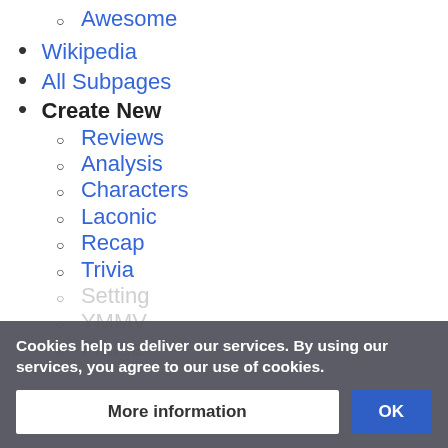Awesome
Wikipedia
All Subpages
Create New
Reviews
Analysis
Characters
Laconic
Recap
Trivia
Setting
YMMV
Fridge
Cookies help us deliver our services. By using our services, you agree to our use of cookies.
More information
OK